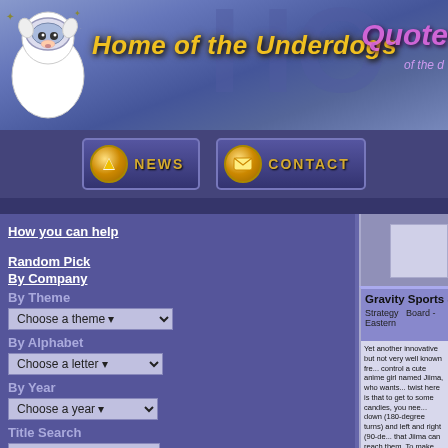Home of the Underdogs
[Figure (screenshot): Website header with dog mascot logo, 'Home of the Underdogs' title in yellow italic, and 'Quote' text in pink on right side with blue gradient background]
[Figure (screenshot): Navigation bar with NEWS and CONTACT buttons featuring golden circular icons on dark purple background]
How you can help
Random Pick
By Company
By Theme
Choose a theme
By Alphabet
Choose a letter
By Year
Choose a year
Title Search
Company Search
Designer Search
Gravity Sports 3
Strategy   Board - Eastern
Yet another innovative but not very well known fre... control a cute anime girl named Jiima, who wants... twist here is that to get to some candies, you nee... down (180-degree turns) and left and right (90-de... that Jiima can reach them. To make your task mo... by using icons, the number of which is limited for ... times a particular rotation can be used, and this r... that direction as many times as you want). This m... use, but when to use them -- that is, the order of y...
The game has over 50 levels to tax your brain ce... levels. In short, Gravity Sports 3 is an elegant a... "why didn't anyone think of this before?" premise.
Reviewed by: Underdogs